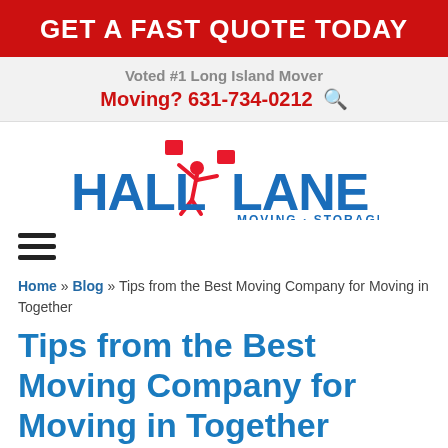GET A FAST QUOTE TODAY
Voted #1 Long Island Mover
Moving? 631-734-0212
[Figure (logo): Hall Lane Moving & Storage logo with red figure tossing boxes and blue text]
[Figure (other): Hamburger menu icon (three horizontal lines)]
Home » Blog » Tips from the Best Moving Company for Moving in Together
Tips from the Best Moving Company for Moving in Together